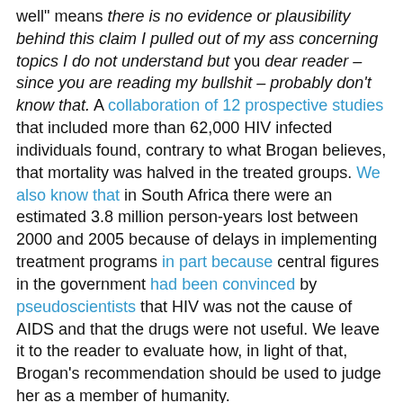well" means there is no evidence or plausibility behind this claim I pulled out of my ass concerning topics I do not understand but you dear reader – since you are reading my bullshit – probably don't know that. A collaboration of 12 prospective studies that included more than 62,000 HIV infected individuals found, contrary to what Brogan believes, that mortality was halved in the treated groups. We also know that in South Africa there were an estimated 3.8 million person-years lost between 2000 and 2005 because of delays in implementing treatment programs in part because central figures in the government had been convinced by pseudoscientists that HIV was not the cause of AIDS and that the drugs were not useful. We leave it to the reader to evaluate how, in light of that, Brogan's recommendation should be used to judge her as a member of humanity.
Diagnosis: Raging pseudoscientific conspiracy theorist, who has managed to make something of a name for herself among conspiracy-minded "natural" healing gohmerts. One of those who, on balance, has made the world a worse place to live, and she appears to be just